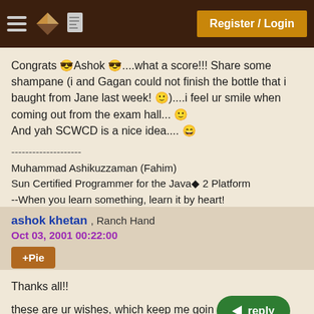Register / Login
Congrats 😎Ashok 😎....what a score!!! Share some shampane (i and Gagan could not finish the bottle that i baught from Jane last week! 🙂)....i feel ur smile when coming out from the exam hall... 🙂
And yah SCWCD is a nice idea.... 😁
--------------------
Muhammad Ashikuzzaman (Fahim)
Sun Certified Programmer for the Java◆ 2 Platform
--When you learn something, learn it by heart!
ashok khetan , Ranch Hand
Oct 03, 2001 00:22:00
+Pie
Thanks all!!
these are ur wishes, which keep me going in the future also.
good luck leena!! i wish u would be coming out with a